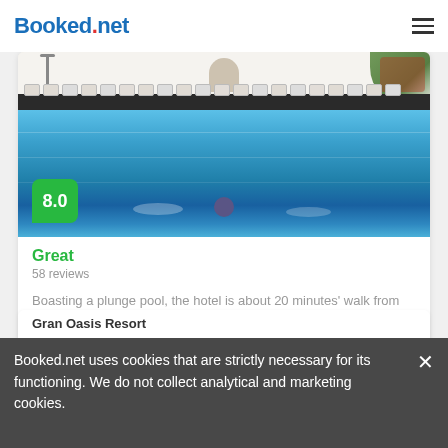Booked.net
[Figure (photo): Hotel pool photo showing a large outdoor swimming pool with lounge chairs along the deck and a white building in the background. A swimmer is visible in the pool. Score badge showing 8.0 in green.]
Great
58 reviews
Boasting a plunge pool, the hotel is about 20 minutes' walk from the center of Los Cristianos.
from us$ 107/night SELECT
Gran Oasis Resort
Booked.net uses cookies that are strictly necessary for its functioning. We do not collect analytical and marketing cookies.